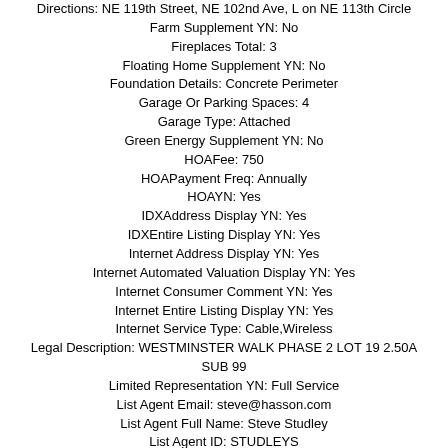Directions: NE 119th Street, NE 102nd Ave, L on NE 113th Circle
Farm Supplement YN: No
Fireplaces Total: 3
Floating Home Supplement YN: No
Foundation Details: Concrete Perimeter
Garage Or Parking Spaces: 4
Garage Type: Attached
Green Energy Supplement YN: No
HOAFee: 750
HOAPayment Freq: Annually
HOAYN: Yes
IDXAddress Display YN: Yes
IDXEntire Listing Display YN: Yes
Internet Address Display YN: Yes
Internet Automated Valuation Display YN: Yes
Internet Consumer Comment YN: Yes
Internet Entire Listing Display YN: Yes
Internet Service Type: Cable,Wireless
Legal Description: WESTMINSTER WALK PHASE 2 LOT 19 2.50A SUB 99
Limited Representation YN: Full Service
List Agent Email: steve@hasson.com
List Agent Full Name: Steve Studley
List Agent ID: STUDLEYS
List Agent Phone: 360-606-8816
List Office Firm ID: 227663
List Office ID: 4CAH02
List Office Name: Cascade Hasson Sotheby's International Realty
List Office Phone: 360-816-2600
Lot Size: 1 to 2.99 Acres